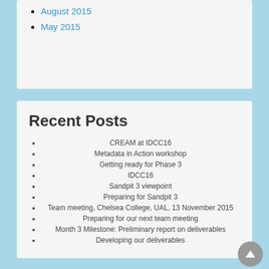August 2015
May 2015
Recent Posts
CREAM at IDCC16
Metadata in Action workshop
Getting ready for Phase 3
IDCC16
Sandpit 3 viewpoint
Preparing for Sandpit 3
Team meeting, Chelsea College, UAL, 13 November 2015
Preparing for our next team meeting
Month 3 Milestone: Preliminary report on deliverables
Developing our deliverables